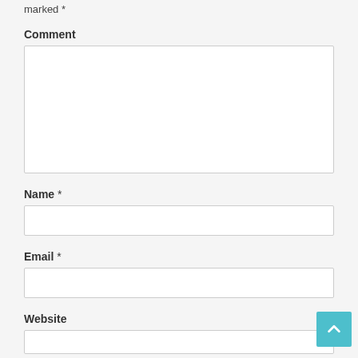marked *
Comment
[Figure (screenshot): Empty comment textarea input field]
Name *
[Figure (screenshot): Empty name text input field]
Email *
[Figure (screenshot): Empty email text input field]
Website
[Figure (screenshot): Empty website text input field (partially visible)]
[Figure (other): Back to top button with upward arrow, teal/cyan color]